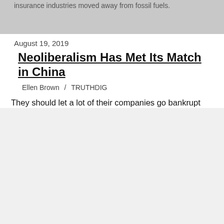insurance industries moved away from fossil fuels.
August 19, 2019
Neoliberalism Has Met Its Match in China
Ellen Brown  /  TRUTHDIG
[Figure (photo): Photo of two world leaders facing each other closely, one of Asian descent in dark suit on the left, one of Caucasian descent with blonde hair and red tie on the right, with military figures in blue uniforms visible in the background.]
They should let a lot of their companies go bankrupt